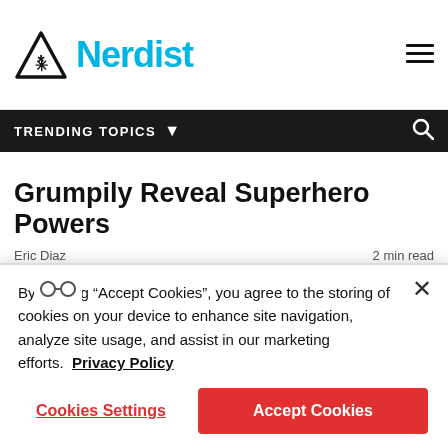Nerdist
TRENDING TOPICS
Grumpily Reveal Superhero Powers
Eric Diaz   2 min read
[Figure (photo): A grumpy cat photo with an orange/red illustrated overlay on left side showing cat silhouette and glasses icon, and a real orange cat photo on the right]
By clicking “Accept Cookies”, you agree to the storing of cookies on your device to enhance site navigation, analyze site usage, and assist in our marketing efforts.  Privacy Policy
Cookies Settings   Accept Cookies